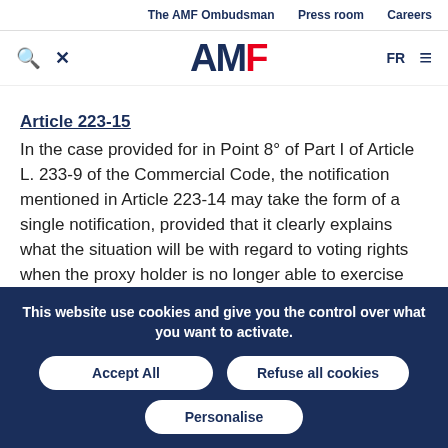The AMF Ombudsman   Press room   Careers
[Figure (logo): AMF logo with red F, navigation icons (search, close), FR language toggle, and hamburger menu]
Article 223-15
In the case provided for in Point 8° of Part I of Article L. 233-9 of the Commercial Code, the notification mentioned in Article 223-14 may take the form of a single notification, provided that it clearly explains what the situation will be with regard to voting rights when the proxy holder is no longer able to exercise them after
This website use cookies and give you the control over what you want to activate.
Accept All   Refuse all cookies
Personalise